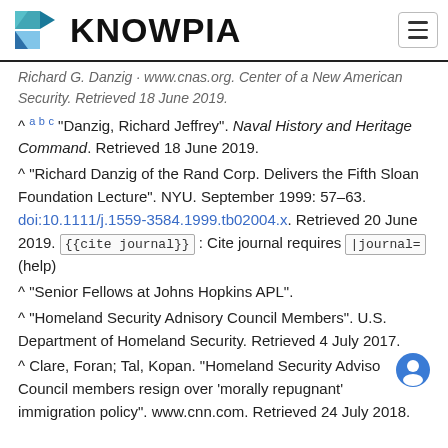KNOWPIA
Richard G. Danzig · www.cnas.org. Center of a New American Security. Retrieved 18 June 2019.
^ a b c "Danzig, Richard Jeffrey". Naval History and Heritage Command. Retrieved 18 June 2019.
^ "Richard Danzig of the Rand Corp. Delivers the Fifth Sloan Foundation Lecture". NYU. September 1999: 57–63. doi:10.1111/j.1559-3584.1999.tb02004.x. Retrieved 20 June 2019. {{cite journal}} : Cite journal requires |journal= (help)
^ "Senior Fellows at Johns Hopkins APL".
^ "Homeland Security Adnisory Council Members". U.S. Department of Homeland Security. Retrieved 4 July 2017.
^ Clare, Foran; Tal, Kopan. "Homeland Security Advisory Council members resign over 'morally repugnant' immigration policy". www.cnn.com. Retrieved 24 July 2018.